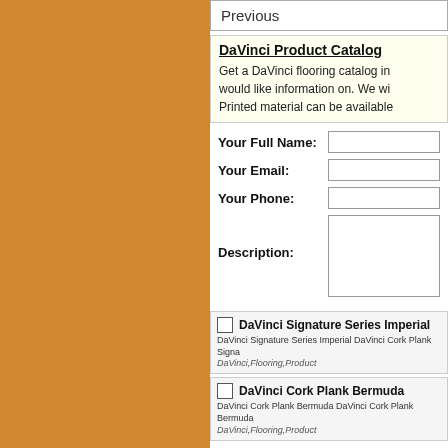Previous
DaVinci Product Catalog
Get a DaVinci flooring catalog in would like information on. We wi Printed material can be available
Your Full Name:
Your Email:
Your Phone:
Description:
DaVinci Signature Series Imperial
DaVinci Signature Series Imperial DaVinci Cork Plank Signa
DaVinci,Flooring,Product
DaVinci Cork Plank Bermuda
DaVinci Cork Plank Bermuda DaVinci Cork Plank Bermuda
DaVinci,Flooring,Product